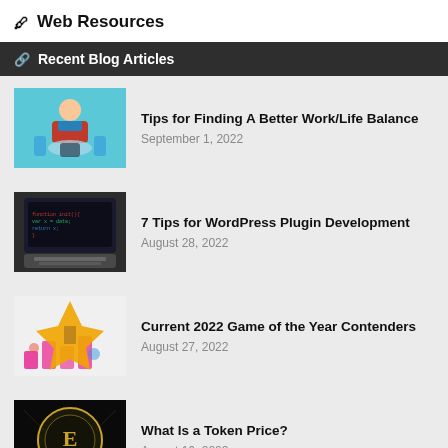Web Resources
Recent Blog Articles
Tips for Finding A Better Work/Life Balance
September 1, 2022
7 Tips for WordPress Plugin Development
August 28, 2022
Current 2022 Game of the Year Contenders
August 27, 2022
What Is a Token Price?
August 16, 2022